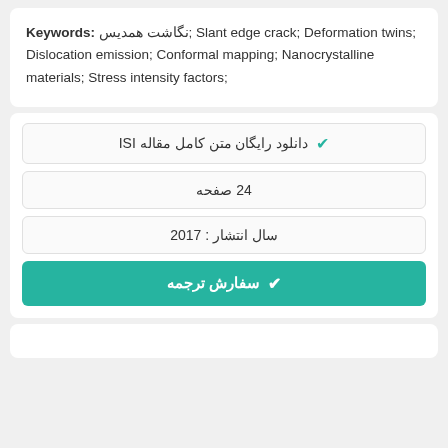Keywords: نگاشت همدیس; Slant edge crack; Deformation twins; Dislocation emission; Conformal mapping; Nanocrystalline materials; Stress intensity factors;
✔ دانلود رایگان متن کامل مقاله ISI
24 صفحه
سال انتشار : 2017
✔ سفارش ترجمه